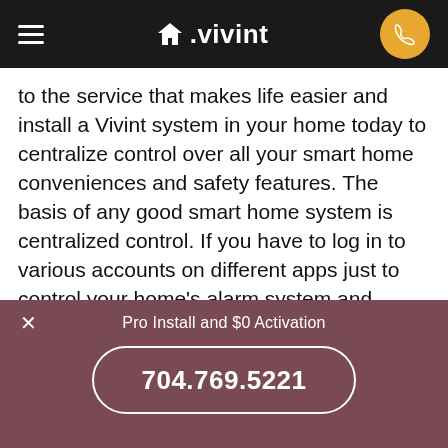≡ △.vivint [phone icon]
to the service that makes life easier and install a Vivint system in your home today to centralize control over all your smart home conveniences and safety features. The basis of any good smart home system is centralized control. If you have to log in to various accounts on different apps just to control your home's alarm system and convenient smart devices, that's not really a 'smart' system. Vivint Smart Drive includes an intelligence layer called Vivint Smart Hub that analyzes the communication signals of smart home devices, and uses them to self-adjust system settings without extra input from the user. In other words, Vivint Smart Hub gives your home the ability to automatically respond to ambient environmental
Pro Install and $0 Activation
704.769.5221